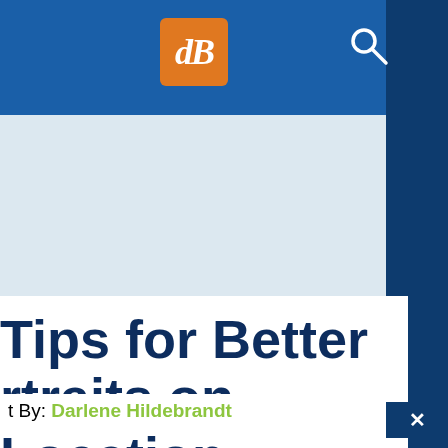[Figure (logo): dPS (Digital Photography School) logo — orange rounded square with white italic 'dB' text]
Tips for Better Portraits on Location
t By: Darlene Hildebrandt